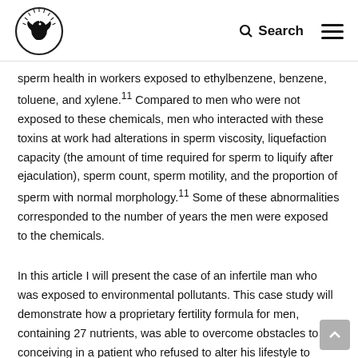[Logo] Search [Menu]
sperm health in workers exposed to ethylbenzene, benzene, toluene, and xylene.11 Compared to men who were not exposed to these chemicals, men who interacted with these toxins at work had alterations in sperm viscosity, liquefaction capacity (the amount of time required for sperm to liquify after ejaculation), sperm count, sperm motility, and the proportion of sperm with normal morphology.11 Some of these abnormalities corresponded to the number of years the men were exposed to the chemicals.
In this article I will present the case of an infertile man who was exposed to environmental pollutants. This case study will demonstrate how a proprietary fertility formula for men, containing 27 nutrients, was able to overcome obstacles to conceiving in a patient who refused to alter his lifestyle to